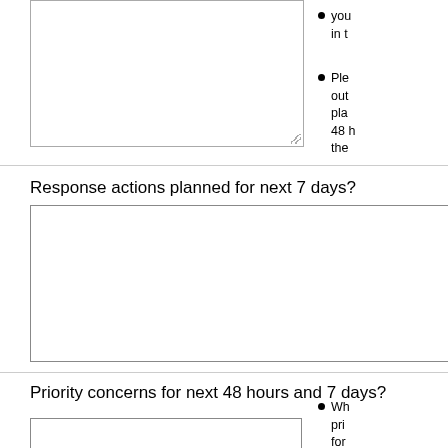[textarea - top, partial from previous section]
you in t
Ple out pla 48 h the
Response actions planned for next 7 days?
[textarea - response actions]
Priority concerns for next 48 hours and 7 days?
Wh pri for hou
If th
[textarea - priority concerns, partial]